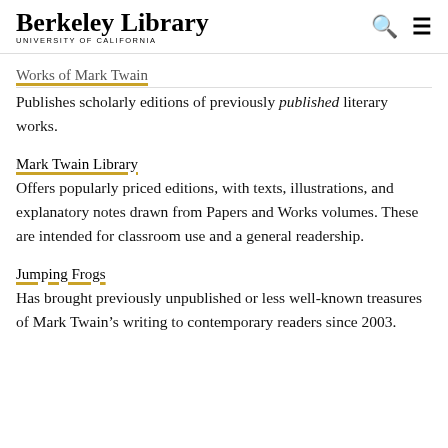Berkeley Library — University of California
Works of Mark Twain
Publishes scholarly editions of previously published literary works.
Mark Twain Library
Offers popularly priced editions, with texts, illustrations, and explanatory notes drawn from Papers and Works volumes. These are intended for classroom use and a general readership.
Jumping Frogs
Has brought previously unpublished or less well-known treasures of Mark Twain's writing to contemporary readers since 2003.